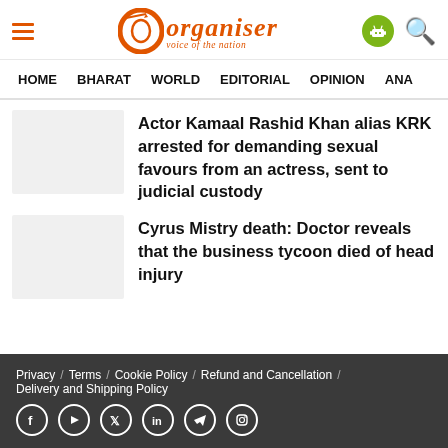Organiser – voice of the nation
HOME  BHARAT  WORLD  EDITORIAL  OPINION  ANA
Actor Kamaal Rashid Khan alias KRK arrested for demanding sexual favours from an actress, sent to judicial custody
Cyrus Mistry death: Doctor reveals that the business tycoon died of head injury
Privacy / Terms / Cookie Policy / Refund and Cancellation / Delivery and Shipping Policy